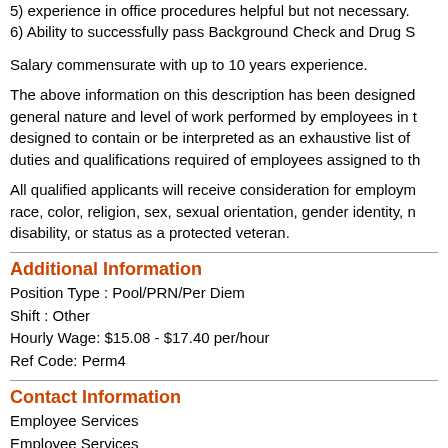5) experience in office procedures helpful but not necessary.
6) Ability to successfully pass Background Check and Drug S
Salary commensurate with up to 10 years experience.
The above information on this description has been designed general nature and level of work performed by employees in t designed to contain or be interpreted as an exhaustive list of duties and qualifications required of employees assigned to th
All qualified applicants will receive consideration for employm race, color, religion, sex, sexual orientation, gender identity, n disability, or status as a protected veteran.
Additional Information
Position Type : Pool/PRN/Per Diem
Shift : Other
Hourly Wage: $15.08 - $17.40 per/hour
Ref Code: Perm4
Contact Information
Employee Services
Employee Services
30 13th St
Havre, MT 59501